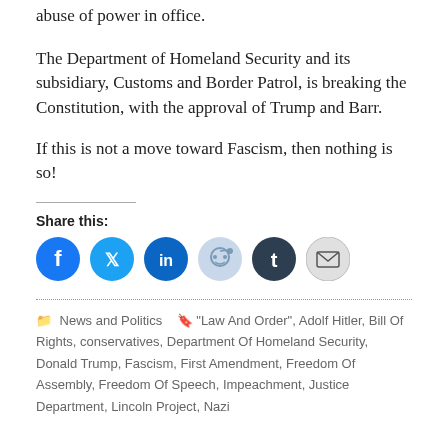abuse of power in office.
The Department of Homeland Security and its subsidiary, Customs and Border Patrol, is breaking the Constitution, with the approval of Trump and Barr.
If this is not a move toward Fascism, then nothing is so!
Share this:
[Figure (other): Social share buttons: Facebook, Twitter, LinkedIn, Reddit, Tumblr, Email]
News and Politics   "Law And Order", Adolf Hitler, Bill Of Rights, conservatives, Department Of Homeland Security, Donald Trump, Fascism, First Amendment, Freedom Of Assembly, Freedom Of Speech, Impeachment, Justice Department, Lincoln Project, Nazi